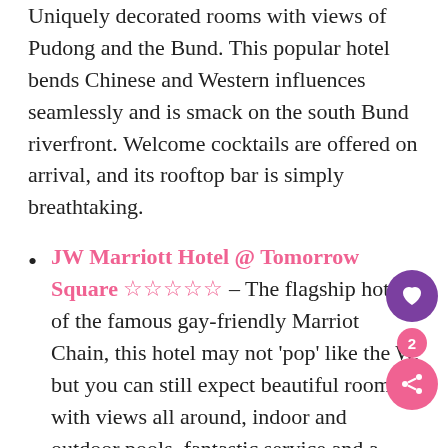Uniquely decorated rooms with views of Pudong and the Bund. This popular hotel bends Chinese and Western influences seamlessly and is smack on the south Bund riverfront. Welcome cocktails are offered on arrival, and its rooftop bar is simply breathtaking.
JW Marriott Hotel @ Tomorrow Square ☆☆☆☆☆ – The flagship hotel of the famous gay-friendly Marriot Chain, this hotel may not 'pop' like the W, but you can still expect beautiful rooms with views all around, indoor and outdoor pools, fantastic service and a location second to none. Right in the heart Shanghai with the subway station below, you can easily access everything in Shanghai in